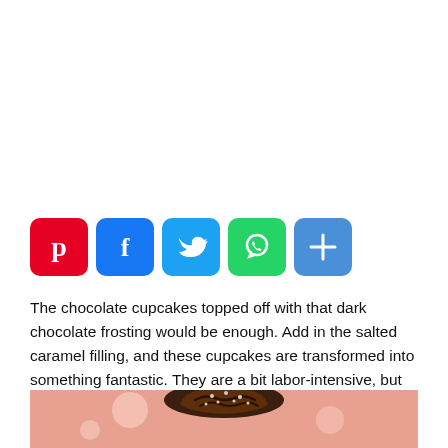[Figure (infographic): Social media share buttons: Pinterest (red), Facebook (blue), Twitter (light blue), WhatsApp (green), Share/More (blue)]
The chocolate cupcakes topped off with that dark chocolate frosting would be enough. Add in the salted caramel filling, and these cupcakes are transformed into something fantastic. They are a bit labor-intensive, but trust me when I say that they are worth every minute.
[Figure (photo): A chocolate cupcake with dark chocolate frosting and silver sprinkles on a pink background, viewed from above/side angle.]